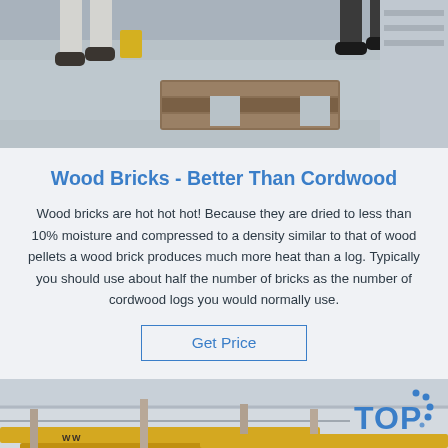[Figure (photo): Workers in a warehouse/factory floor with a wooden pallet or brick on the ground, viewed from above. People wearing work clothes and boots.]
Wood Bricks - Better Than Cordwood
Wood bricks are hot hot hot! Because they are dried to less than 10% moisture and compressed to a density similar to that of wood pellets a wood brick produces much more heat than a log. Typically you should use about half the number of bricks as the number of cordwood logs you would normally use.
Get Price
[Figure (photo): Industrial factory interior with yellow overhead crane/beam structures, large white cylindrical machinery on the floor. TOP logo visible in upper right corner.]